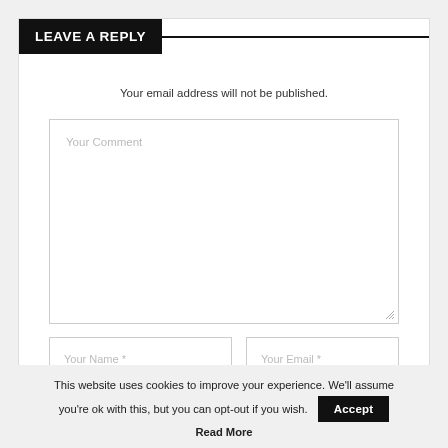LEAVE A REPLY
Your email address will not be published.
Your Comment
Your Name *
Your Email *
This website uses cookies to improve your experience. We'll assume you're ok with this, but you can opt-out if you wish.
Accept
Read More